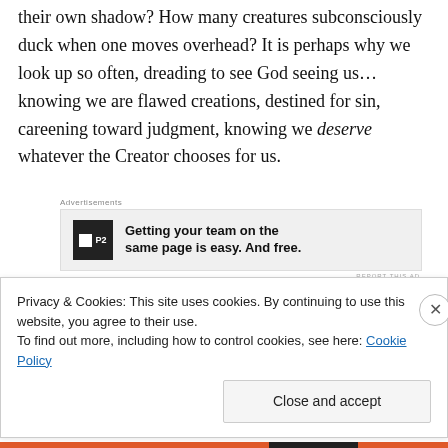their own shadow? How many creatures subconsciously duck when one moves overhead? It is perhaps why we look up so often, dreading to see God seeing us…knowing we are flawed creations, destined for sin, careening toward judgment, knowing we deserve whatever the Creator chooses for us.
[Figure (screenshot): Advertisement for P2 product: 'Getting your team on the same page is easy. And free.']
We cannot escape our shadow; it goes everywhere with
Privacy & Cookies: This site uses cookies. By continuing to use this website, you agree to their use.
To find out more, including how to control cookies, see here: Cookie Policy
Close and accept